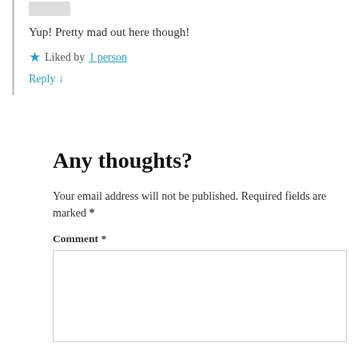Yup! Pretty mad out here though!
★ Liked by 1 person
Reply ↓
Any thoughts?
Your email address will not be published. Required fields are marked *
Comment *